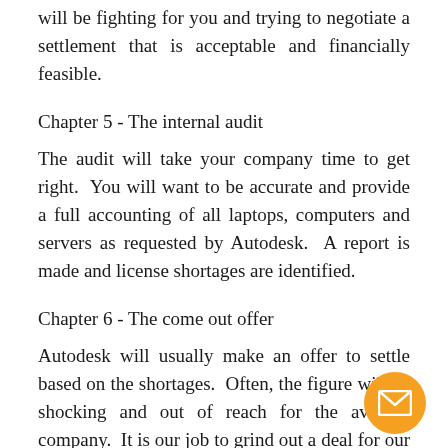will be fighting for you and trying to negotiate a settlement that is acceptable and financially feasible.
Chapter 5 - The internal audit
The audit will take your company time to get right. You will want to be accurate and provide a full accounting of all laptops, computers and servers as requested by Autodesk. A report is made and license shortages are identified.
Chapter 6 - The come out offer
Autodesk will usually make an offer to settle based on the shortages. Often, the figure will be shocking and out of reach for the average company. It is our job to grind out a deal for our client.
Chapter 7 - Negotiating the deal
This is a tough part of the case. Many clients think this